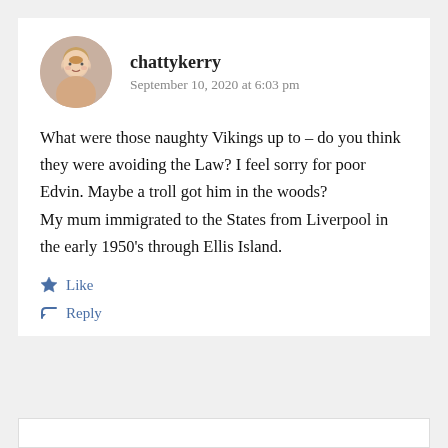[Figure (photo): Circular avatar photo of a woman with short blonde hair]
chattykerry
September 10, 2020 at 6:03 pm
What were those naughty Vikings up to – do you think they were avoiding the Law? I feel sorry for poor Edvin. Maybe a troll got him in the woods?
My mum immigrated to the States from Liverpool in the early 1950's through Ellis Island.
Like
Reply